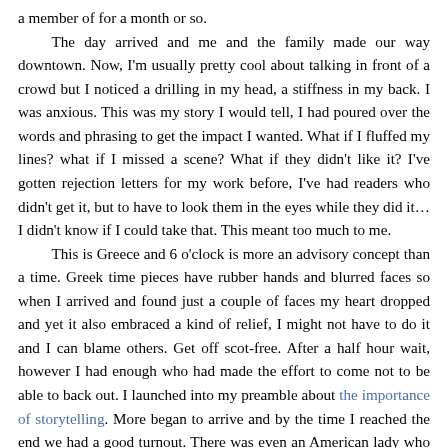a member of for a month or so.

The day arrived and me and the family made our way downtown. Now, I'm usually pretty cool about talking in front of a crowd but I noticed a drilling in my head, a stiffness in my back. I was anxious. This was my story I would tell, I had poured over the words and phrasing to get the impact I wanted. What if I fluffed my lines? what if I missed a scene? What if they didn't like it? I've gotten rejection letters for my work before, I've had readers who didn't get it, but to have to look them in the eyes while they did it… I didn't know if I could take that. This meant too much to me.

This is Greece and 6 o'clock is more an advisory concept than a time. Greek time pieces have rubber hands and blurred faces so when I arrived and found just a couple of faces my heart dropped and yet it also embraced a kind of relief, I might not have to do it and I can blame others. Get off scot-free. After a half hour wait, however I had enough who had made the effort to come not to be able to back out. I launched into my preamble about the importance of storytelling. More began to arrive and by the time I reached the end we had a good turnout. There was even an American lady who had wandered into our room to wait for a friend. My plan was to call on others to take the floor and share